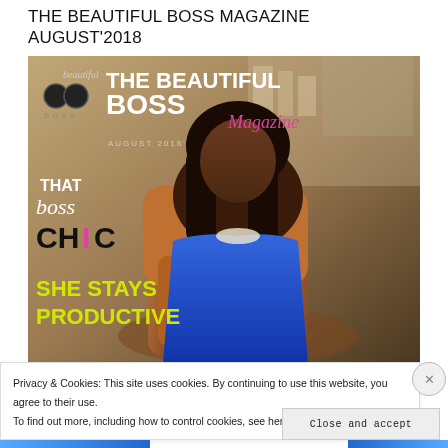THE BEAUTIFUL BOSS MAGAZINE AUGUST'2018
[Figure (photo): Magazine cover of The Beautiful Boss Magazine August 2018 issue featuring a woman in a blue dress seated in a leather chair, with text overlays including 'THE BEAUTIFUL BOSS Magazine', 'AUGUST 2018', 'That boss CHIC', 'SHE STAYS PRODUCTIVE']
Privacy & Cookies: This site uses cookies. By continuing to use this website, you agree to their use.
To find out more, including how to control cookies, see here: Cookie Policy
Close and accept